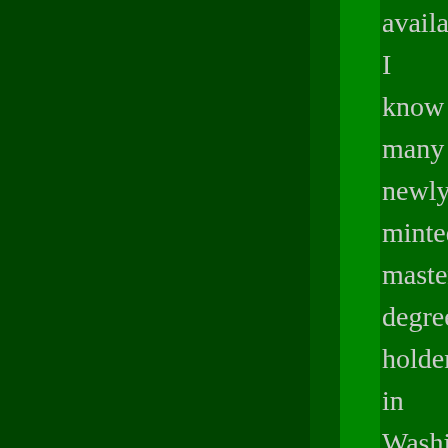available I know many newly minted master's degree holders in Washington D.C. who are barely able to find positions as unpaid interns; Drezner's analysis is sadly